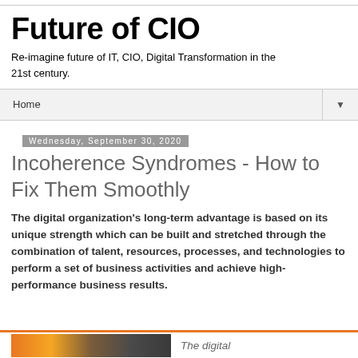Future of CIO
Re-imagine future of IT, CIO, Digital Transformation in the 21st century.
Home ▼
Wednesday, September 30, 2020
Incoherence Syndromes - How to Fix Them Smoothly
The digital organization's long-term advantage is based on its unique strength which can be built and stretched through the combination of talent, resources, processes, and technologies to perform a set of business activities and achieve high-performance business results.
The digital